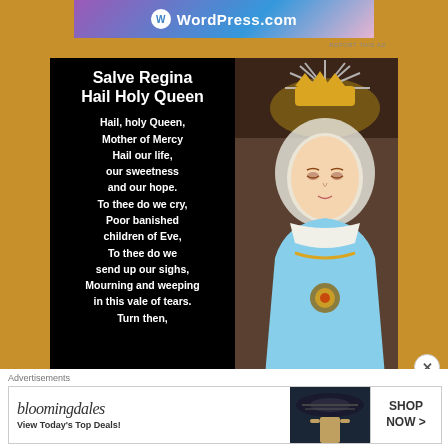[Figure (screenshot): WordPress.com advertisement banner at the top with blue/purple gradient background]
[Figure (infographic): Black left panel with white bold text showing Salve Regina prayer title and opening verses, paired with right panel showing a colorful statue of the Virgin Mary wearing a golden crown with silver rays]
Advertisements
[Figure (screenshot): Bloomingdale's advertisement showing logo, 'View Today's Top Deals!' tagline, woman in hat, and 'SHOP NOW >' button]